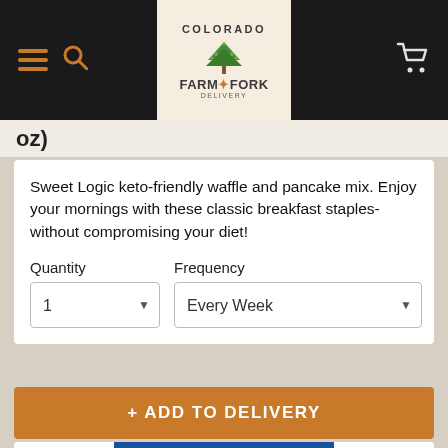Colorado Farm & Fork Delivery
oz)
Sweet Logic keto-friendly waffle and pancake mix. Enjoy your mornings with these classic breakfast staples- without compromising your diet!
Quantity
1
Frequency
Every Week
+ ADD TO DELIVERY
[Figure (photo): Mountain America Elk Jerky product package with blue and purple label showing mountains]